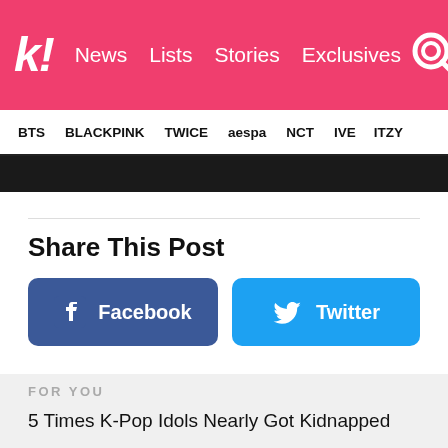k! News Lists Stories Exclusives
BTS BLACKPINK TWICE aespa NCT IVE ITZY
Share This Post
Facebook
Twitter
FOR YOU
5 Times K-Pop Idols Nearly Got Kidnapped